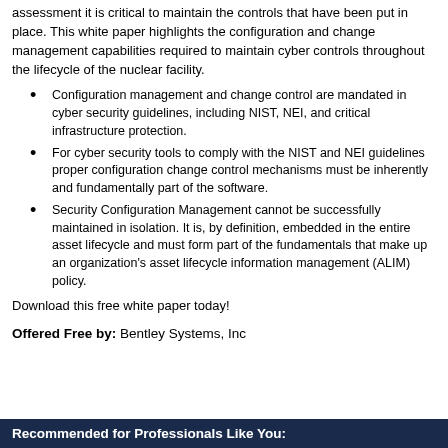assessment it is critical to maintain the controls that have been put in place. This white paper highlights the configuration and change management capabilities required to maintain cyber controls throughout the lifecycle of the nuclear facility.
Configuration management and change control are mandated in cyber security guidelines, including NIST, NEI, and critical infrastructure protection.
For cyber security tools to comply with the NIST and NEI guidelines proper configuration change control mechanisms must be inherently and fundamentally part of the software.
Security Configuration Management cannot be successfully maintained in isolation. It is, by definition, embedded in the entire asset lifecycle and must form part of the fundamentals that make up an organization's asset lifecycle information management (ALIM) policy.
Download this free white paper today!
Offered Free by: Bentley Systems, Inc
Recommended for Professionals Like You: